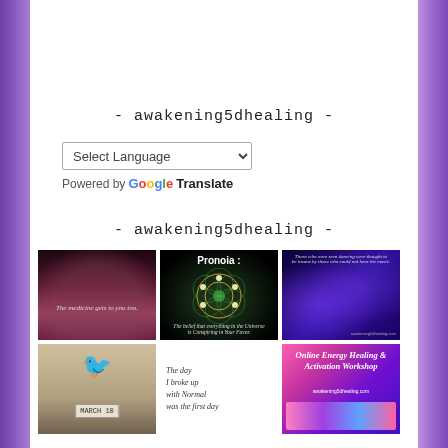- awakening5dhealing -
Select Language (dropdown) Powered by Google Translate
- awakening5dhealing -
[Figure (photo): Dark moody silhouette of two people under bare trees with purple-red haze, text overlay]
[Figure (photo): Pronoia: sacred geometry mandala in gold and green on black, caption: The belief that everything in the Universe is Conspiring in Your Favor.]
[Figure (photo): Purple and blue cosmic swirl with silhouettes of figures, quote about those who were seen dancing being thought to be insane]
[Figure (photo): Black bird on MARCH 10 sign, sepia tones]
[Figure (photo): Text on white: The day I broke up with Normal was the first day]
[Figure (photo): Online Energy Healing & Activation Workshop promotional graphic with colorful gradient]